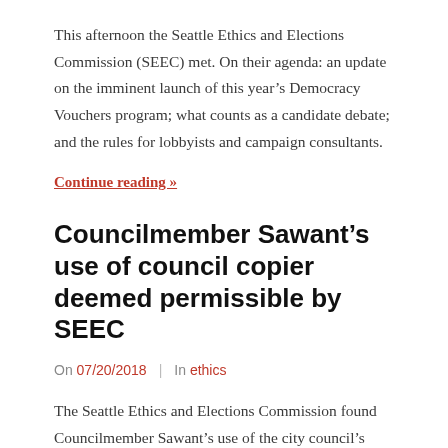This afternoon the Seattle Ethics and Elections Commission (SEEC) met. On their agenda: an update on the imminent launch of this year's Democracy Vouchers program; what counts as a candidate debate; and the rules for lobbyists and campaign consultants.
Continue reading »
Councilmember Sawant's use of council copier deemed permissible by SEEC
On 07/20/2018 | In ethics
The Seattle Ethics and Elections Commission found Councilmember Sawant's use of the city council's copy machine during the Head Tax debate did not